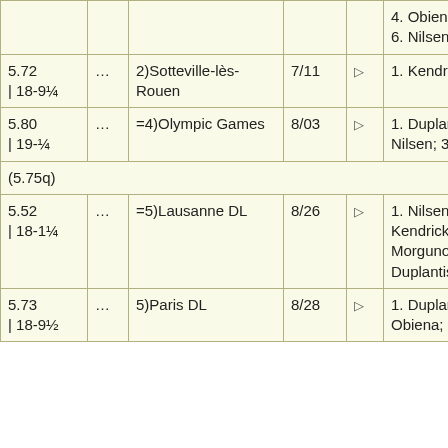| Mark |  | Place | Date |  | Result |
| --- | --- | --- | --- | --- | --- |
|  |  |  |  |  | 4. Obiena; 5. Lisek;
6. Nilsen |
| 5.72 | 18-9¼ | … | 2)Sotteville-lès-Rouen | 7/11 | ▷ | 1. Kendricks |
| 5.80 | 19-¼ | … | =4)Olympic Games | 8/03 | ▷ | 1. Duplantis; 2. Nilsen; 3. Braz |
| (5.75q) |  |  |  |  |  |
| 5.52 | 18-1¼ | … | =5)Lausanne DL | 8/26 | ▷ | 1. Nilsen; 2. Kendricks; 3. Morgunov; 4. Duplantis |
| 5.73 | 18-9½ | … | 5)Paris DL | 8/28 | ▷ | 1. Duplantis; 2. Obiena; 3. Nilsen; 4. |